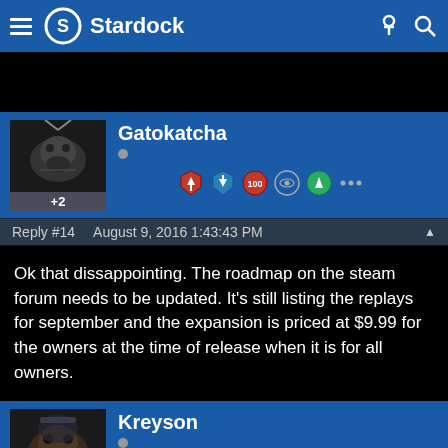Stardock
[Figure (screenshot): Stardock logo with navigation hamburger menu and user/search icons]
[Figure (photo): User avatar for Gatokatcha showing a dark fantasy creature]
Gatokatcha
+2
Reply #14   August 9, 2016 1:43:43 PM
Ok that dissappointing. The roadmap on the steam forum needs to be updated. It's still listing the replays for september and the expansion is priced at $9.99 for the owners at the time of release when it is for all owners.
[Figure (photo): User avatar for Kreyson showing a creature with open mouth]
Kreyson
+9